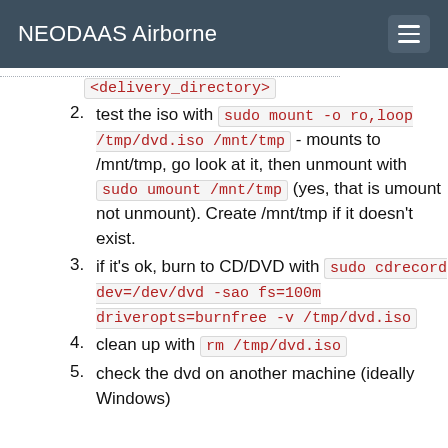NEODAAS Airborne
<delivery_directory>
test the iso with sudo mount -o ro,loop /tmp/dvd.iso /mnt/tmp - mounts to /mnt/tmp, go look at it, then unmount with sudo umount /mnt/tmp (yes, that is umount not unmount). Create /mnt/tmp if it doesn't exist.
if it's ok, burn to CD/DVD with sudo cdrecord dev=/dev/dvd -sao fs=100m driveropts=burnfree -v /tmp/dvd.iso
clean up with rm /tmp/dvd.iso
check the dvd on another machine (ideally Windows)